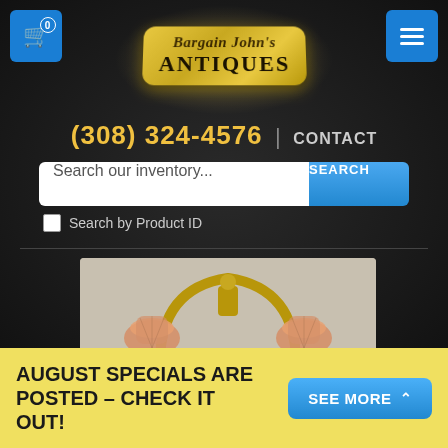[Figure (logo): Bargain John's Antiques logo on a gold/yellow badge with decorative serif font]
(308) 324-4576  |  CONTACT
Search our inventory...
Search by Product ID
[Figure (photo): Antique double-arm brass wall sconce lamp with two orange/pink art glass shades]
AUGUST SPECIALS ARE POSTED – CHECK IT OUT!